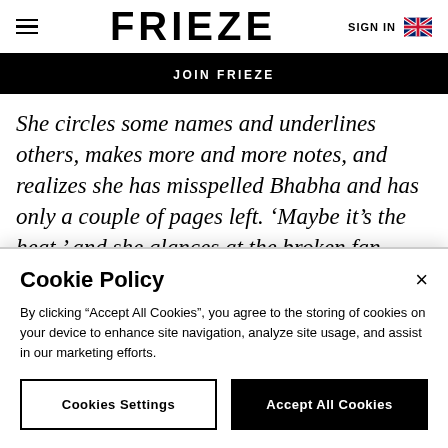FRIEZE   SIGN IN
JOIN FRIEZE
She circles some names and underlines others, makes more and more notes, and realizes she has misspelled Bhabha and has only a couple of pages left. ‘Maybe it’s the heat,’ and she glances at the broken fan. ‘Maybe it’s the language,’ and she questions what, until now, she
Cookie Policy
By clicking “Accept All Cookies”, you agree to the storing of cookies on your device to enhance site navigation, analyze site usage, and assist in our marketing efforts.
Cookies Settings   Accept All Cookies